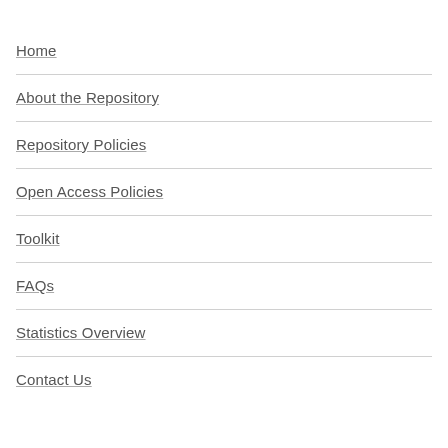Home
About the Repository
Repository Policies
Open Access Policies
Toolkit
FAQs
Statistics Overview
Contact Us